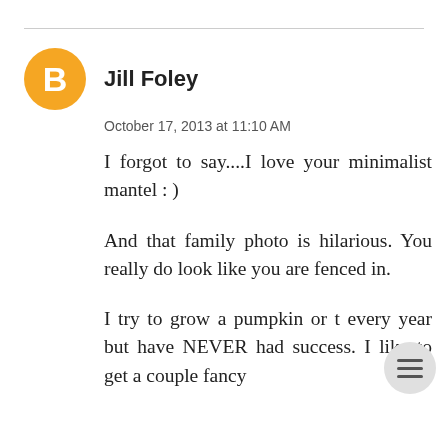[Figure (illustration): Orange circular Blogger avatar icon with a white 'B' letter in the center]
Jill Foley
October 17, 2013 at 11:10 AM
I forgot to say....I love your minimalist mantel : )
And that family photo is hilarious. You really do look like you are fenced in.
I try to grow a pumpkin or t every year but have NEVER had success. I like to get a couple fancy